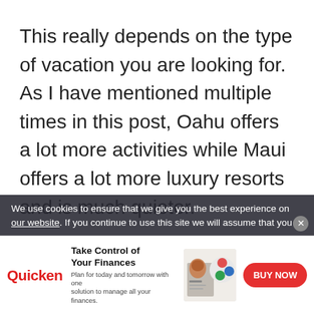This really depends on the type of vacation you are looking for. As I have mentioned multiple times in this post, Oahu offers a lot more activities while Maui offers a lot more luxury resorts and is much quieter.
In my opinion, I think Oahu is better for families (especially if you have kids).
We use cookies to ensure that we give you the best experience on our website. If you continue to use this site we will assume that you...
[Figure (infographic): Quicken advertisement banner: logo on left in red, headline 'Take Control of Your Finances', subtext 'Plan for today and tomorrow with one solution to manage all your finances.', photo of woman at laptop with colorful graphic, red BUY NOW button on right.]